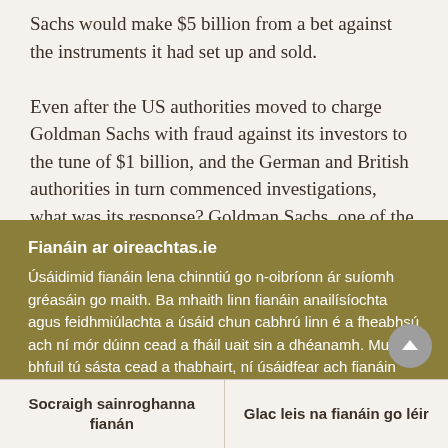Sachs would make $5 billion from a bet against the instruments it had set up and sold.
Even after the US authorities moved to charge Goldman Sachs with fraud against its investors to the tune of $1 billion, and the German and British authorities in turn commenced investigations, what was its response? Goldman Sachs, one of the top companies, could not care less about the
Fianáin ar oireachtas.ie
Úsáidimid fianáin lena chinntiú go n-oibríonn ár suíomh gréasáin go maith. Ba mhaith linn fianáin anailísíochta agus feidhmiúlachta a úsáid chun cabhrú linn é a fheabhsú ach ní mór dúinn cead a fháil uait sin a dhéanamh. Mura bhfuil tú sásta cead a thabhairt, ní úsáidfear ach fianáin riachtanacha. Léigh tuileadh faoinár bhfianáin
Socraigh sainroghanna fianán
Glac leis na fianáin go léir